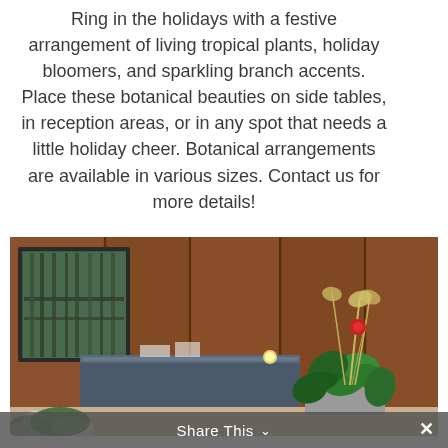Ring in the holidays with a festive arrangement of living tropical plants, holiday bloomers, and sparkling branch accents. Place these botanical beauties on side tables, in reception areas, or in any spot that needs a little holiday cheer. Botanical arrangements are available in various sizes. Contact us for more details!
[Figure (photo): Interior lobby or reception area with warm wood-paneled walls, a dark framed window on the left showing greenery outside, a blue reception desk in the center, and a large tropical/holiday botanical arrangement in a grey pot on the right side, with additional white floral arrangements in the foreground.]
Share This ∨  ✕